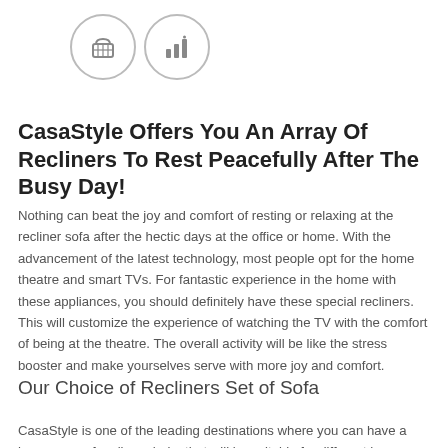[Figure (illustration): Two circular icon buttons side by side: a shopping basket icon and a bar chart/signal icon, both in light gray with circular borders.]
CasaStyle Offers You An Array Of Recliners To Rest Peacefully After The Busy Day!
Nothing can beat the joy and comfort of resting or relaxing at the recliner sofa after the hectic days at the office or home. With the advancement of the latest technology, most people opt for the home theatre and smart TVs. For fantastic experience in the home with these appliances, you should definitely have these special recliners. This will customize the experience of watching the TV with the comfort of being at the theatre. The overall activity will be like the stress booster and make yourselves serve with more joy and comfort.
Our Choice of Recliners Set of Sofa
CasaStyle is one of the leading destinations where you can have a huge array of recliner chairs that will be suitable for different homes and people with different needs. Buying the